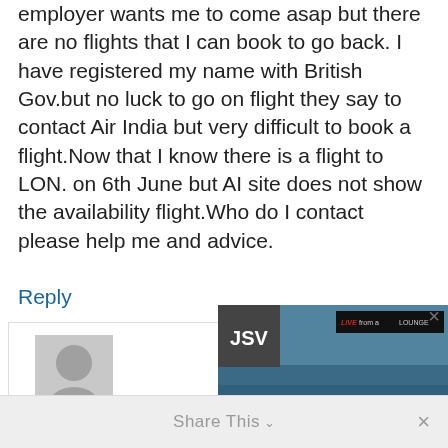employer wants me to come asap but there are no flights that I can book to go back. I have registered my name with British Gov.but no luck to go on flight they say to contact Air India but very difficult to book a flight.Now that I know there is a flight to LON. on 6th June but AI site does not show the availability flight.Who do I contact please help me and advice.
Reply
Dear Neville
[Figure (screenshot): Advertisement overlay showing JSV badge, Live from a Lounge logo, travel lounge background image, text '30% Amex to Marriott Transfer Bonus Through October 31, 2022' with 'Read More' button]
Share This
×